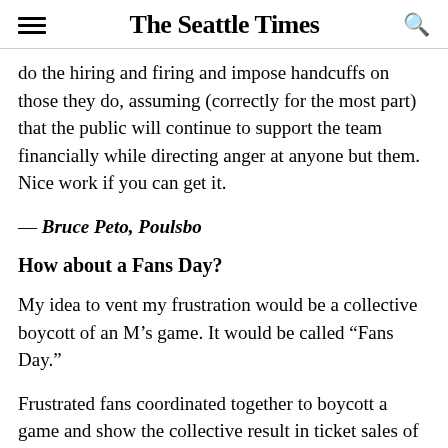The Seattle Times
do the hiring and firing and impose handcuffs on those they do, assuming (correctly for the most part) that the public will continue to support the team financially while directing anger at anyone but them. Nice work if you can get it.
— Bruce Peto, Poulsbo
How about a Fans Day?
My idea to vent my frustration would be a collective boycott of an M's game. It would be called “Fans Day.”
Frustrated fans coordinated together to boycott a game and show the collective result in ticket sales of that particular game.